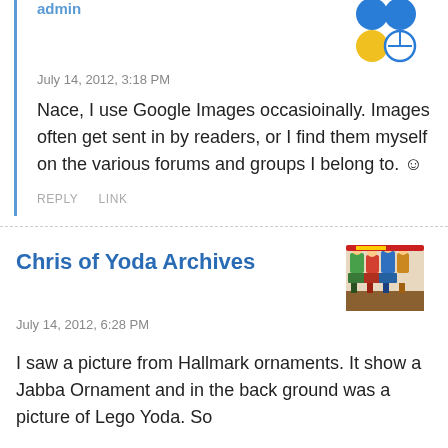admin
July 14, 2012, 3:18 PM
Nace, I use Google Images occasioinally. Images often get sent in by readers, or I find them myself on the various forums and groups I belong to. ☺
REPLY   LINK
Chris of Yoda Archives
July 14, 2012, 6:28 PM
I saw a picture from Hallmark ornaments. It show a Jabba Ornament and in the back ground was a picture of Lego Yoda. So